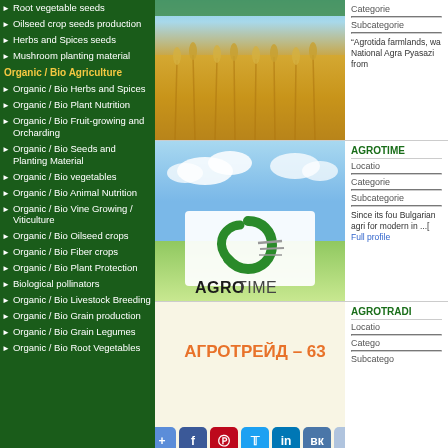Root vegetable seeds
Oilseed crop seeds production
Herbs and Spices seeds
Mushroom planting material
Organic / Bio Agriculture
Organic / Bio Herbs and Spices
Organic / Bio Plant Nutrition
Organic / Bio Fruit-growing and Orcharding
Organic / Bio Seeds and Planting Material
Organic / Bio vegetables
Organic / Bio Animal Nutrition
Organic / Bio Vine Growing / Viticulture
Organic / Bio Oilseed crops
Organic / Bio Fiber crops
Organic / Bio Plant Protection
Biological pollinators
Organic / Bio Livestock Breeding
Organic / Bio Grain production
Organic / Bio Grain Legumes
Organic / Bio Root Vegetables
[Figure (photo): Wheat field photo - golden grain]
Categories: Subcategories: “Agrotida farmlands, wa National Agra Pyasazi from
[Figure (logo): AGROTIME company logo with green swirl icon]
AGROTIME Location: Categories: Subcategories: Since its fou Bulgarian agri for modern in ...[ Full profile
[Figure (photo): AGROTRADE - 63 company card with cream background and orange Cyrillic text АГРОТРЕЙД - 63]
AGROTRADE Location: Catego Subcatego